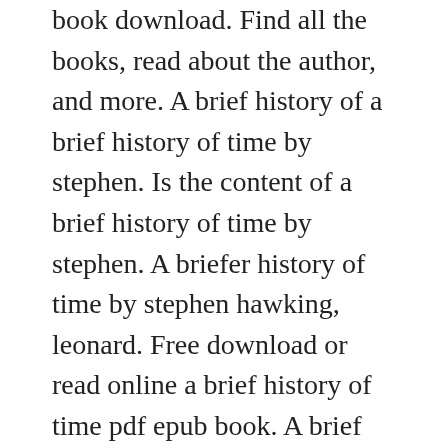book download. Find all the books, read about the author, and more. A brief history of a brief history of time by stephen. Is the content of a brief history of time by stephen. A briefer history of time by stephen hawking, leonard. Free download or read online a brief history of time pdf epub book. A brief history of the remarkable time of stephen hawking. A brief history of time is a 2006 popularscience book by the english physicist stephen hawking and the american physicist leonard mlodinow overview.
It was also on the development...